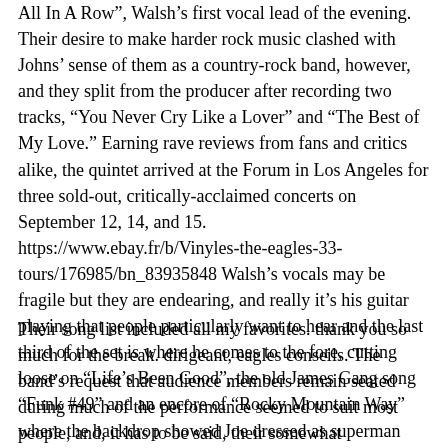All In A Row", Walsh's first vocal lead of the evening. Their desire to make harder rock music clashed with Johns' sense of them as a country-rock band, however, and they split from the producer after recording two tracks, "You Never Cry Like a Lover" and "The Best of My Love." Earning rave reviews from fans and critics alike, the quintet arrived at the Forum in Los Angeles for three sold-out, critically-acclaimed concerts on September 12, 14, and 15. https://www.ebay.fr/b/Vinyles-the-eagles-33-tours/176985/bn_83935848 Walsh's vocals may be fragile but they are endearing, and really it's his guitar playing that people particularly want to hear and the last third of the set is where he comes to the fore, cutting loose on “Life’s Been Good”, the old James Gang song “Funk #49” and an encore of “Rocky Mountain Way” where the backdrop showed Joe dressed as superman flying across the Rockies as the real Joe dazzled us with his Talk Box and some gonzo riffing.
Their song list included all my favorites. thank you so much for the break. dirigeant, eagles conseils. The band’s request that audience members remain seated during much of the performance seemed to suit most people, and, it has to be said, their somewhat controversial and often ridiculed “strictly no photography” edict meant that you saw most of the show first hand rather than though the screen of the cell phone of the person in front of you, and this made a surprisingly welcome change. In the spring of 1994, they